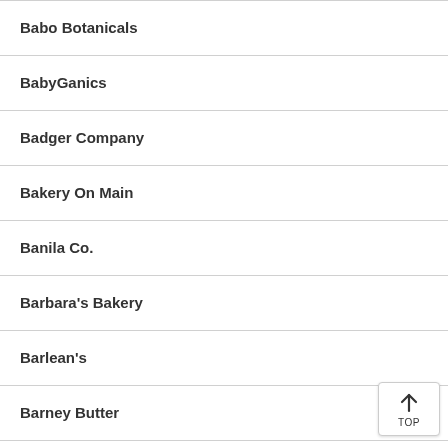Babo Botanicals
BabyGanics
Badger Company
Bakery On Main
Banila Co.
Barbara's Bakery
Barlean's
Barney Butter